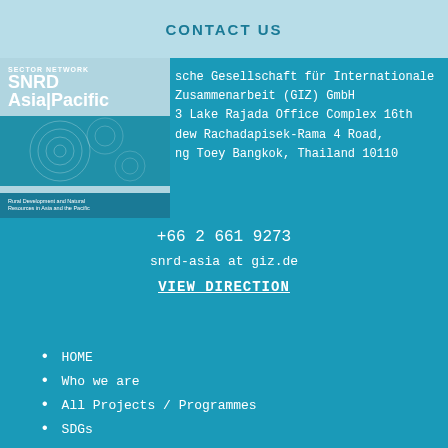CONTACT US
[Figure (logo): SNRD Asia/Pacific Sector Network logo with circular design and subtitle 'Rural Development and Natural Resources in Asia and the Pacific']
sche Gesellschaft für Internationale Zusammenarbeit (GIZ) GmbH 3 Lake Rajada Office Complex 16th dew Rachadapisek-Rama 4 Road, ng Toey Bangkok, Thailand 10110
+66 2 661 9273
snrd-asia at giz.de
VIEW DIRECTION
HOME
Who we are
All Projects / Programmes
SDGs
Publication
Webinar